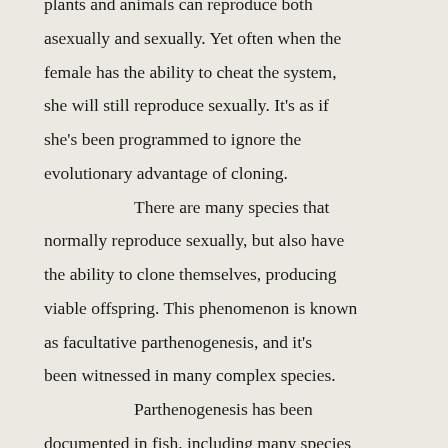plants and animals can reproduce both asexually and sexually. Yet often when the female has the ability to cheat the system, she will still reproduce sexually. It's as if she's been programmed to ignore the evolutionary advantage of cloning. There are many species that normally reproduce sexually, but also have the ability to clone themselves, producing viable offspring. This phenomenon is known as facultative parthenogenesis, and it's been witnessed in many complex species. Parthenogenesis has been documented in fish, including many species of sharks such as blacktip, hammerhead, zebra, white-spotted bamboo, and reportedly others (2). It's been documented